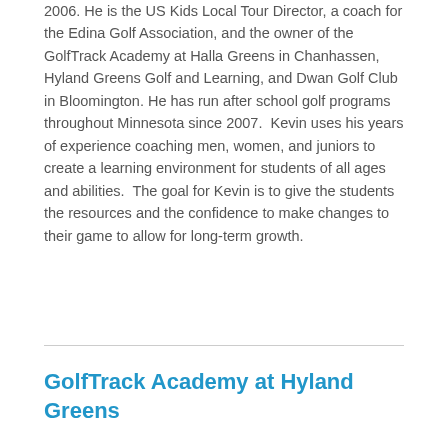2006. He is the US Kids Local Tour Director, a coach for the Edina Golf Association, and the owner of the GolfTrack Academy at Halla Greens in Chanhassen, Hyland Greens Golf and Learning, and Dwan Golf Club in Bloomington. He has run after school golf programs throughout Minnesota since 2007.  Kevin uses his years of experience coaching men, women, and juniors to create a learning environment for students of all ages and abilities.  The goal for Kevin is to give the students the resources and the confidence to make changes to their game to allow for long-term growth.
GolfTrack Academy at Hyland Greens